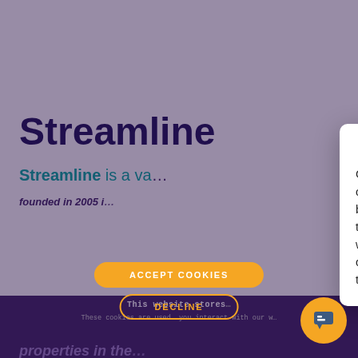Streamline
Streamline is a va...
founded in 2005 i...
This website stores cookies on your computer.
These cookies are used to collect information about how you interact with our website and allow us to remember you. We use this information in order to customize your browsing experience and for analytics and metrics about our visitors both on this website and other media. To find out more about the cookies we use, see our privacy policy.
properties in the...
manage online fr... and front d... une offers all-in-one software and helps vacation rental businesses... leads, websites, accounting, distribution...
[Figure (screenshot): Chat popup overlay with Zendesk-style icon showing: 'Got any sales questions? A member of our Partner Engagement Team can get back to you in live chat. Before we do that, I'll need two things. Please note we do not offer support through this live chat. For that, please Raise a Hand in the system.']
Got any sales questions? A member of our Partner Engagement Team can get back to you in live chat. Before we do that, I'll need two things. Please note we do not offer support through this live chat. For that, please Raise a Hand in the system.
ACCEPT COOKIES
DECLINE